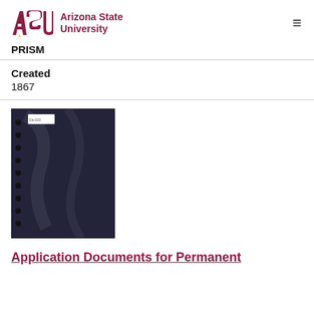[Figure (logo): Arizona State University PRISM logo with ASU block letters in maroon and gold sunburst]
PRISM
Created
1867
[Figure (photo): Dark document page in a plastic sheet protector with hole punches on the left side and a small white label in the upper left corner]
Application Documents for Permanent